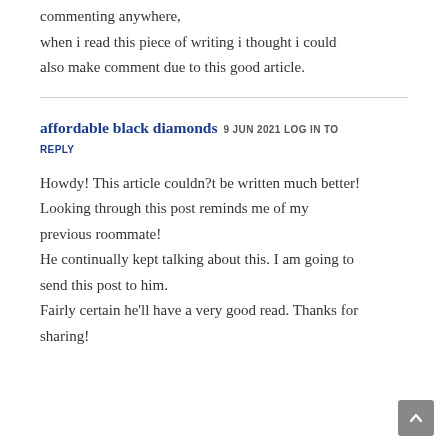commenting anywhere, when i read this piece of writing i thought i could also make comment due to this good article.
affordable black diamonds  9 JUN 2021  LOG IN TO REPLY
Howdy! This article couldn?t be written much better! Looking through this post reminds me of my previous roommate! He continually kept talking about this. I am going to send this post to him. Fairly certain he’ll have a very good read. Thanks for sharing!